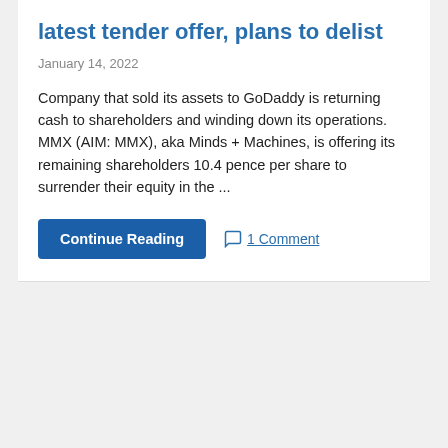latest tender offer, plans to delist
January 14, 2022
Company that sold its assets to GoDaddy is returning cash to shareholders and winding down its operations. MMX (AIM: MMX), aka Minds + Machines, is offering its remaining shareholders 10.4 pence per share to surrender their equity in the ...
Continue Reading | 1 Comment